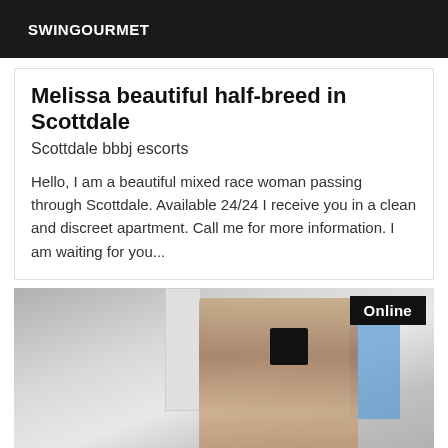SWINGOURMET
Melissa beautiful half-breed in Scottdale
Scottdale bbbj escorts
Hello, I am a beautiful mixed race woman passing through Scottdale. Available 24/24 I receive you in a clean and discreet apartment. Call me for more information. I am waiting for you...
[Figure (photo): Woman taking a bathroom mirror selfie with a smartphone, long brown hair, bathroom with blue tiles visible in background. An 'Online' badge appears in the top-right corner of the photo.]